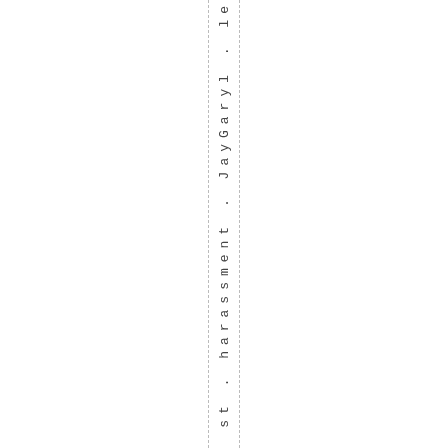st . harassment . JayGaryl . le